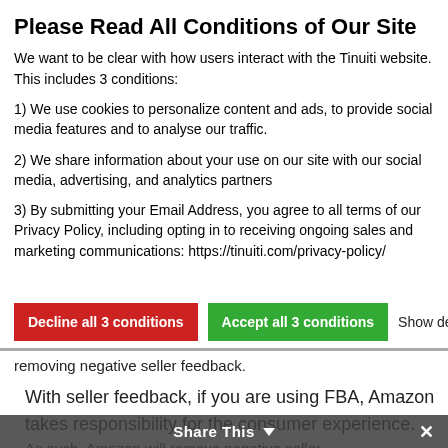Please Read All Conditions of Our Site
We want to be clear with how users interact with the Tinuiti website. This includes 3 conditions:
1) We use cookies to personalize content and ads, to provide social media features and to analyse our traffic.
2) We share information about your use on our site with our social media, advertising, and analytics partners
3) By submitting your Email Address, you agree to all terms of our Privacy Policy, including opting in to receiving ongoing sales and marketing communications: https://tinuiti.com/privacy-policy/
Decline all 3 conditions | Accept all 3 conditions | Show details
removing negative seller feedback.
With seller feedback, if you are using FBA, Amazon takes responsibility for the consumer experience.
As such, Amazon will remove negative seller feedback that pertains to anything related to the
Share This